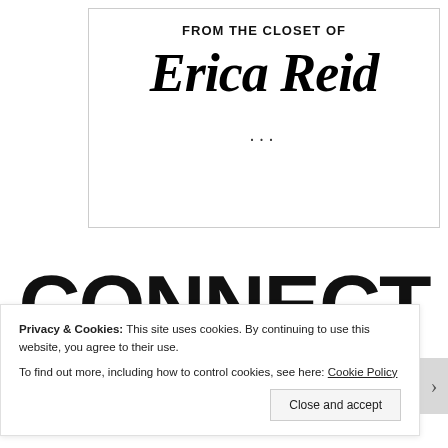[Figure (illustration): A decorative card/box with 'FROM THE CLOSET OF' in bold sans-serif at the top, and 'Erica Reid' in large ornate italic script below, followed by an ellipsis ('...')]
CONNECT
Privacy & Cookies: This site uses cookies. By continuing to use this website, you agree to their use.
To find out more, including how to control cookies, see here: Cookie Policy
Close and accept